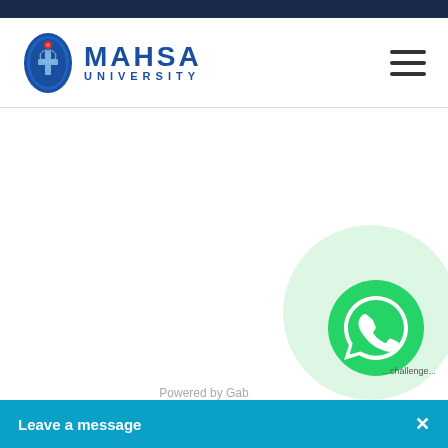[Figure (logo): MAHSA University logo with blue crest/shield and text 'MAHSA UNIVERSITY']
[Figure (other): Hamburger menu icon (three horizontal lines)]
[Figure (other): WhatsApp floating button with green circle logo on light green background circle]
Powered by Gab...
Leave a message